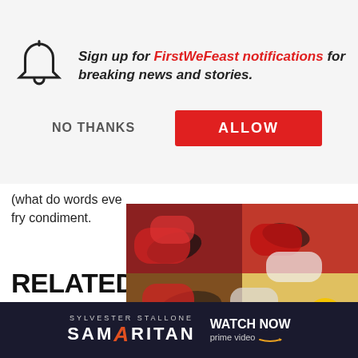Sign up for FirstWeFeast notifications for breaking news and stories.
NO THANKS
ALLOW
(what do words eve... fry condiment.
RELATED S...
The Best Soul-Food...
[Figure (photo): Collection of Nike/Jordan sneakers displayed on shelves with Complex Closets overlay card showing title: Complex Closets: The RarestJordanCollection In The World]
[Figure (photo): Samaritan movie advertisement banner: Sylvester Stallone Samaritan - Watch Now on Prime Video]